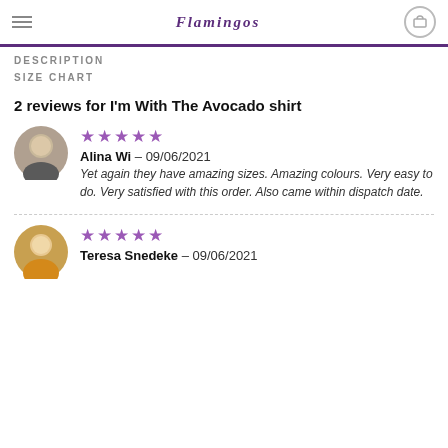Flamingos
DESCRIPTION
SIZE CHART
2 reviews for I'm With The Avocado shirt
[Figure (photo): Circular avatar photo of a man]
★★★★★ Alina Wi – 09/06/2021 Yet again they have amazing sizes. Amazing colours. Very easy to do. Very satisfied with this order. Also came within dispatch date.
[Figure (photo): Circular avatar photo of a woman in yellow top]
★★★★★ Teresa Snedeke – 09/06/2021